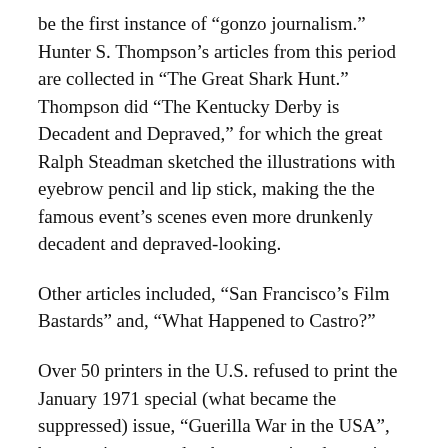be the first instance of “gonzo journalism.” Hunter S. Thompson’s articles from this period are collected in “The Great Shark Hunt.” Thompson did “The Kentucky Derby is Decadent and Depraved,” for which the great Ralph Steadman sketched the illustrations with eyebrow pencil and lip stick, making the the famous event’s scenes even more drunkenly decadent and depraved-looking.
Other articles included, “San Francisco’s Film Bastards” and, “What Happened to Castro?”
Over 50 printers in the U.S. refused to print the January 1971 special (what became the suppressed) issue, “Guerilla War in the USA”, because it appeared to be promoting domestic terrorism. It was finally printed in Quebec on cheaper paper than the other seven issues before the mag went kaput altogether.